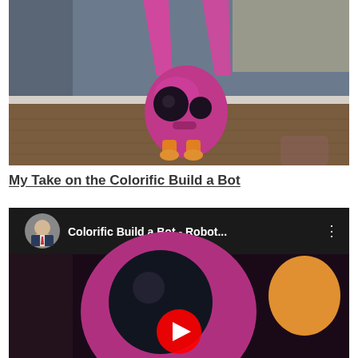[Figure (photo): Pink/magenta toy robot with translucent bunny ears, standing on a wooden floor against a gray wall]
My Take on the Colorific Build a Bot
[Figure (screenshot): YouTube video thumbnail showing 'Colorific Build a Bot - Robot...' with a man's profile picture and a close-up of the pink robot toy with a YouTube play button overlay]